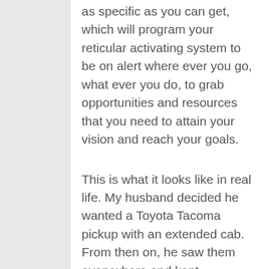as specific as you can get, which will program your reticular activating system to be on alert where ever you go, what ever you do, to grab opportunities and resources that you need to attain your vision and reach your goals.
This is what it looks like in real life. My husband decided he wanted a Toyota Tacoma pickup with an extended cab. From then on, he saw them everywhere and kept commenting on them. We could drive by a car lot and he could glimpse the roof of one way in the back and go "that's a nice little